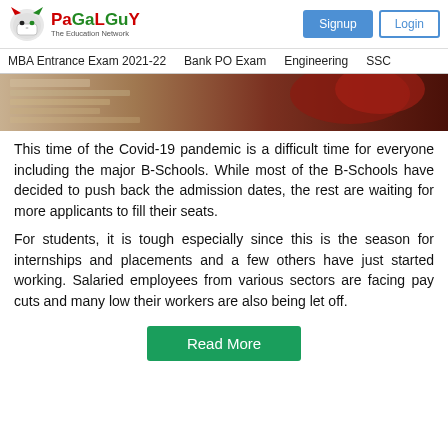PaGaLGuY - The Education Network | Signup | Login
MBA Entrance Exam 2021-22   Bank PO Exam   Engineering   SSC
[Figure (photo): Partial photo showing books and papers with red background tones]
This time of the Covid-19 pandemic is a difficult time for everyone including the major B-Schools. While most of the B-Schools have decided to push back the admission dates, the rest are waiting for more applicants to fill their seats.
For students, it is tough especially since this is the season for internships and placements and a few others have just started working. Salaried employees from various sectors are facing pay cuts and many low their workers are also being let off.
Read More